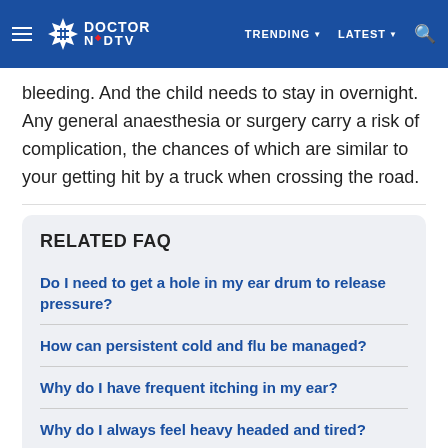Doctor NDTV — TRENDING | LATEST | Search
bleeding. And the child needs to stay in overnight. Any general anaesthesia or surgery carry a risk of complication, the chances of which are similar to your getting hit by a truck when crossing the road.
RELATED FAQ
Do I need to get a hole in my ear drum to release pressure?
How can persistent cold and flu be managed?
Why do I have frequent itching in my ear?
Why do I always feel heavy headed and tired?
How can my sinus problem be treated?